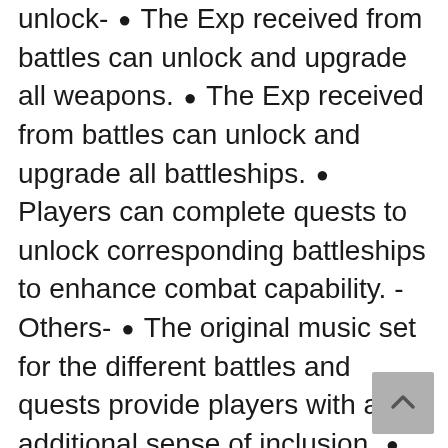unlock- ● The Exp received from battles can unlock and upgrade all weapons. ● The Exp received from battles can unlock and upgrade all battleships. ● Players can complete quests to unlock corresponding battleships to enhance combat capability. - Others- ● The original music set for the different battles and quests provide players with an additional sense of inclusion. ● The Rank system allows players to compete with each other across the world for the title of "The Strongest Fleet". ● The abundant storyline displays the ruthlessnessnature of areal war. If you want to get more information, please pay attention to the following contents: video trailer- http://www.youtube.com/watch?v=0c6gTy2gnow email-